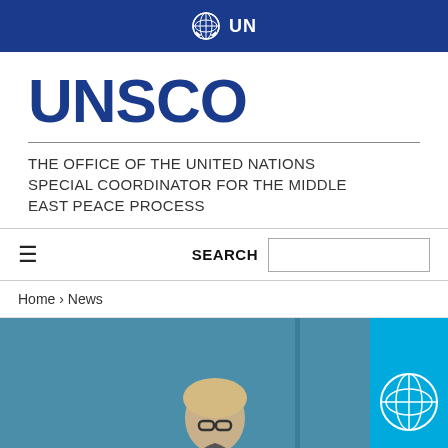UN
UNSCO
THE OFFICE OF THE UNITED NATIONS SPECIAL COORDINATOR FOR THE MIDDLE EAST PEACE PROCESS
SEARCH
Home › News
[Figure (photo): A man with blonde/grey hair and glasses in front of a teal background, with a UN flag visible on the right side of the image.]